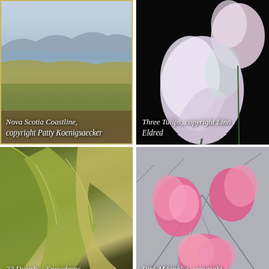[Figure (illustration): Painting of Nova Scotia Coastline showing a landscape with water, coastal hills, and vegetation in muted blues and greens]
Nova Scotia Coastline, copyright Patty Koenigsaecker
[Figure (illustration): Painting of three tulips against a black background with pink, white and purple petals]
Three Tulips, copyright Linn Eldred
[Figure (illustration): Close-up painting of large green snowdrop plant leaves titled 22 Dwarfs – Snowdrops]
22 Dwarfs – Snowdrops, copyright Patricia Mroczka
[Figure (illustration): Drawing of pink magnolia flowers against a grey sketched background]
Pink Magnolia, copyright Marlene Vitek
[Figure (illustration): Partial view of a painting with pink and peach tones, partially cropped at bottom of page]